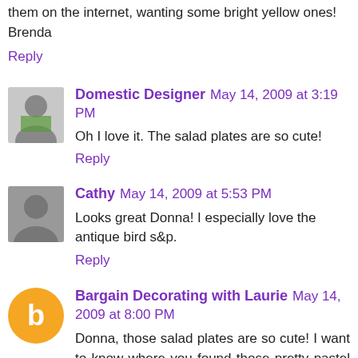them on the internet, wanting some bright yellow ones! Brenda
Reply
Domestic Designer  May 14, 2009 at 3:19 PM
Oh I love it. The salad plates are so cute!
Reply
Cathy  May 14, 2009 at 5:53 PM
Looks great Donna! I especially love the antique bird s&p.
Reply
Bargain Decorating with Laurie  May 14, 2009 at 8:00 PM
Donna, those salad plates are so cute! I want to know where you found those pretty pastel plates for $1! Your tablescape is so pretty, and those candlesticks are